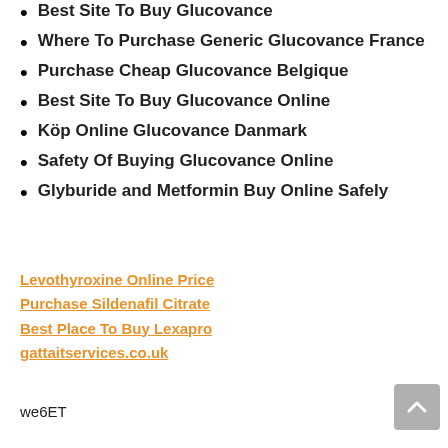Best Site To Buy Glucovance
Where To Purchase Generic Glucovance France
Purchase Cheap Glucovance Belgique
Best Site To Buy Glucovance Online
Köp Online Glucovance Danmark
Safety Of Buying Glucovance Online
Glyburide and Metformin Buy Online Safely
Levothyroxine Online Price
Purchase Sildenafil Citrate
Best Place To Buy Lexapro
gattaitservices.co.uk
we6ET